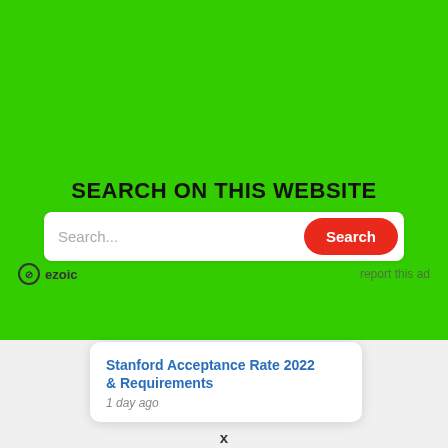[Figure (logo): Ezoic logo with circular icon and bold text 'ezoic', with 'report this ad' link on the right]
SEARCH ON THIS WEBSITE
[Figure (screenshot): Search bar with placeholder 'Search...' and a red 'Search' button]
[Figure (screenshot): Dark circular X button]
[Figure (infographic): Blue notification bell icon with red badge showing '3']
Stanford Acceptance Rate 2022 & Requirements
1 day ago